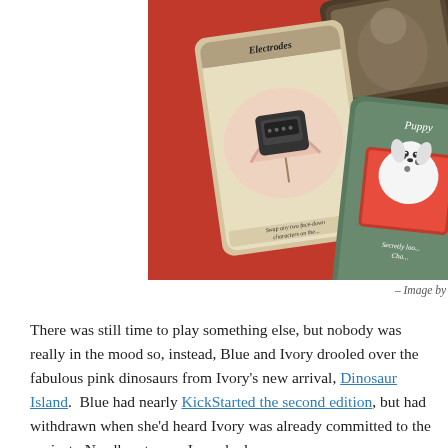[Figure (photo): Photo of board game cards on a red background. Cards visible include 'Electrodes' showing a typewriter/machine illustration with text 'Swap any two face-down characters on the...', 'Uncle Crawley' with scoring text '2 points per Puppy, 1 point per (til that is no)', and 'Puppy' showing a dalmatian puppy in a red box with text 'Secretly loo... Cha...']
– Image by
There was still time to play something else, but nobody was really in the mood so, instead, Blue and Ivory drooled over the fabulous pink dinosaurs from Ivory's new arrival, Dinosaur Island.  Blue had nearly KickStarted the second edition, but had withdrawn when she'd heard Ivory was already committed to the project.  Needless to say, Ivory had